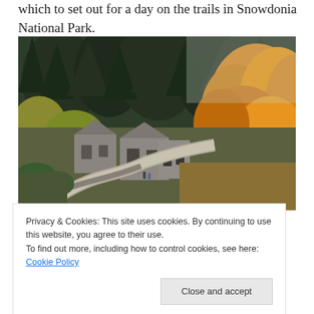which to set out for a day on the trails in Snowdonia National Park.
[Figure (photo): Autumn scene of stone buildings and a winding road surrounded by golden-orange and green trees on a hillside in Snowdonia National Park.]
Privacy & Cookies: This site uses cookies. By continuing to use this website, you agree to their use.
To find out more, including how to control cookies, see here: Cookie Policy
Close and accept